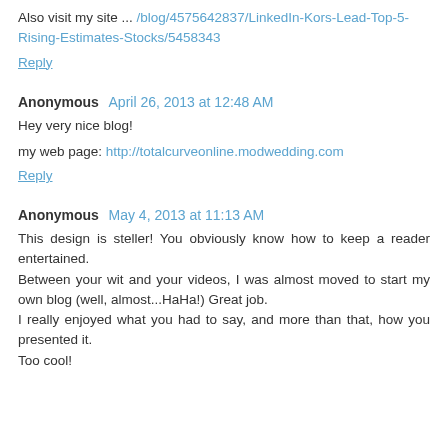Also visit my site ... /blog/4575642837/LinkedIn-Kors-Lead-Top-5-Rising-Estimates-Stocks/5458343
Reply
Anonymous  April 26, 2013 at 12:48 AM
Hey very nice blog!
my web page: http://totalcurveonline.modwedding.com
Reply
Anonymous  May 4, 2013 at 11:13 AM
This design is steller! You obviously know how to keep a reader entertained.
Between your wit and your videos, I was almost moved to start my own blog (well, almost...HaHa!) Great job.
I really enjoyed what you had to say, and more than that, how you presented it.
Too cool!